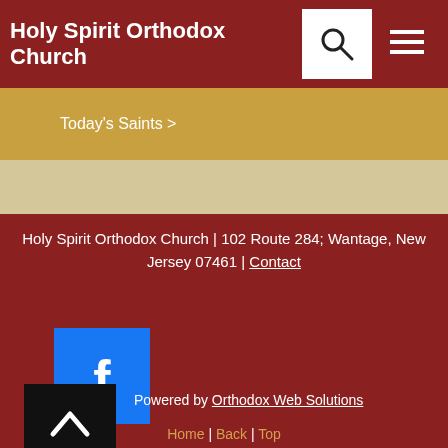Holy Spirit Orthodox Church
Today's Saints >
Holy Spirit Orthodox Church | 102 Route 284; Wantage, New Jersey 07461 | Contact
[Figure (logo): Facebook logo icon — blue square with white 'f']
[Figure (illustration): Back-to-top button — black square with white caret/chevron arrow pointing up]
Powered by Orthodox Web Solutions
Home | Back | Top